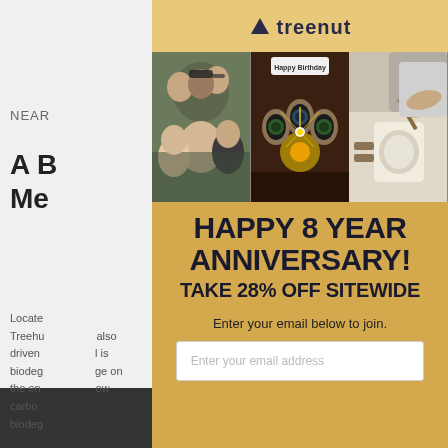[Figure (screenshot): Background webpage content partially visible behind popup, showing gray overlay and partial text about Treenut brand including 'NEAR', 'A B... Me...' heading, and body text about location and biodegradable/carbon footprint content.]
[Figure (logo): Treenut brand logo with tree/mountain triangle icon and 'treenut' wordmark in dark blue]
[Figure (photo): Three-panel photo strip: left panel shows group selfie of people smiling, center panel shows wood watches on a table with Happy Birthday decoration with sparkler, right panel shows person engraving or working on a watch.]
HAPPY 8 YEAR ANNIVERSARY! TAKE 28% OFF SITEWIDE
Enter your email below to join.
Enter your email address